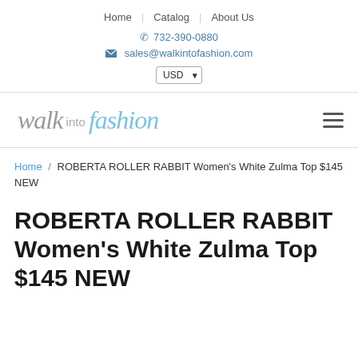Home | Catalog | About Us
732-390-0880
sales@walkintofashion.com
USD
[Figure (logo): Walk into fashion logo with hamburger menu icon]
Home / ROBERTA ROLLER RABBIT Women's White Zulma Top $145 NEW
ROBERTA ROLLER RABBIT Women's White Zulma Top $145 NEW